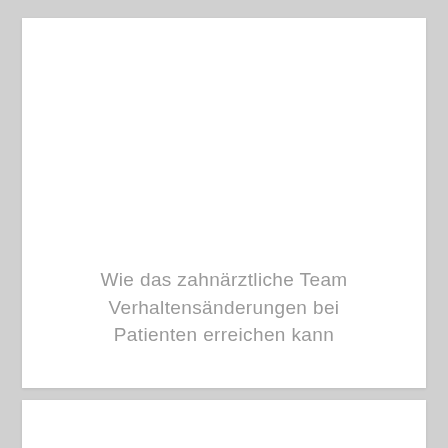Wie das zahnärztliche Team Verhaltensänderungen bei Patienten erreichen kann